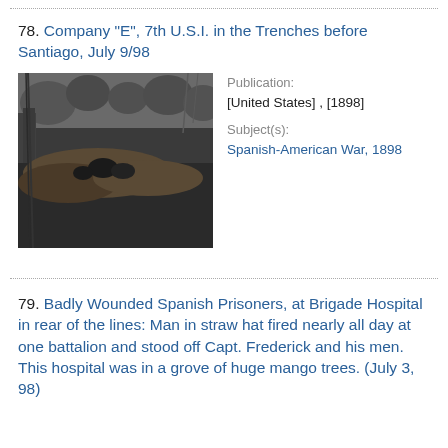78. Company "E", 7th U.S.I. in the Trenches before Santiago, July 9/98
[Figure (photo): Black and white historical photograph showing soldiers in trenches with vegetation, Company E, 7th U.S.I. before Santiago, July 1898]
Publication: [United States] , [1898]
Subject(s): Spanish-American War, 1898
79. Badly Wounded Spanish Prisoners, at Brigade Hospital in rear of the lines: Man in straw hat fired nearly all day at one battalion and stood off Capt. Frederick and his men. This hospital was in a grove of huge mango trees. (July 3, 98)